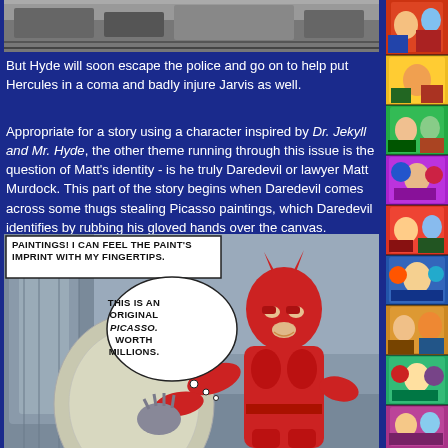[Figure (illustration): Top portion of a black and white comic panel or photograph, partially visible]
But Hyde will soon escape the police and go on to help put Hercules in a coma and badly injure Jarvis as well.
Appropriate for a story using a character inspired by Dr. Jekyll and Mr. Hyde, the other theme running through this issue is the question of Matt's identity - is he truly Daredevil or lawyer Matt Murdock. This part of the story begins when Daredevil comes across some thugs stealing Picasso paintings, which Daredevil identifies by rubbing his gloved hands over the canvas.
[Figure (illustration): Comic panel showing Daredevil in red costume touching/examining something. Speech bubble at top reads: 'PAINTINGS! I CAN FEEL THE PAINT'S IMPRINT WITH MY FINGERTIPS.' Thought bubble reads: 'THIS IS AN ORIGINAL PICASSO. WORTH MILLIONS.']
[Figure (illustration): Right side decorative strip showing collage of Marvel comic book characters]